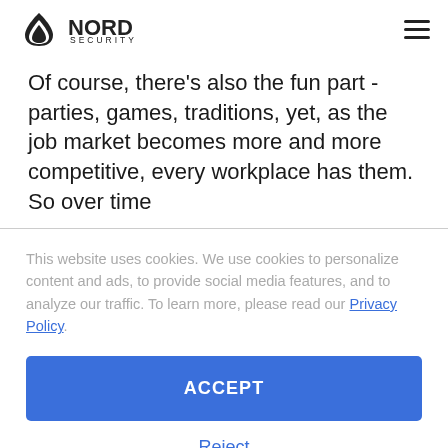NORD SECURITY
Of course, there's also the fun part - parties, games, traditions, yet, as the job market becomes more and more competitive, every workplace has them. So over time
This website uses cookies. We use cookies to personalize content and ads, to provide social media features, and to analyze our traffic. To learn more, please read our Privacy Policy.
ACCEPT
Reject